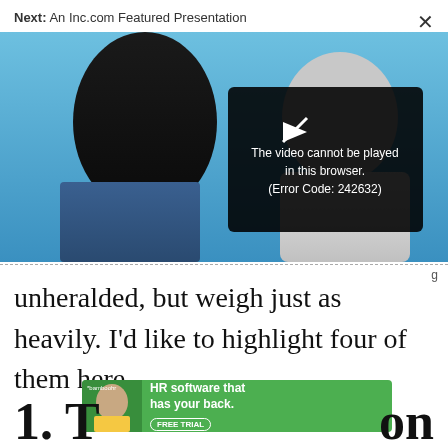Next: An Inc.com Featured Presentation
[Figure (screenshot): Video player screenshot showing two people against a blue sky background, with a black error overlay reading 'The video cannot be played in this browser. (Error Code: 242632)' and a close X button in the top right.]
unheralded, but weigh just as heavily. I'd like to highlight four of them here.
[Figure (infographic): BambooHR advertisement banner: green background with a woman, logo '*bamboohr', text 'HR software that has your back.' and a FREE TRIAL button.]
1. T on